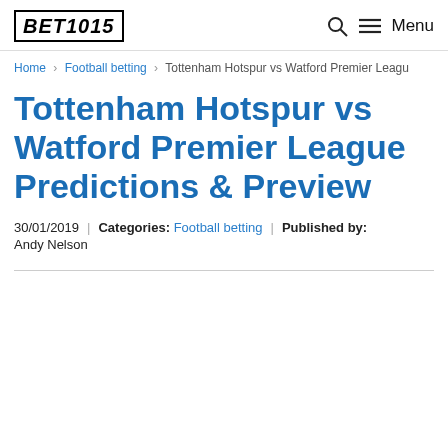BET1015 | Menu
Home > Football betting > Tottenham Hotspur vs Watford Premier League
Tottenham Hotspur vs Watford Premier League Predictions & Preview
30/01/2019 | Categories: Football betting | Published by: Andy Nelson